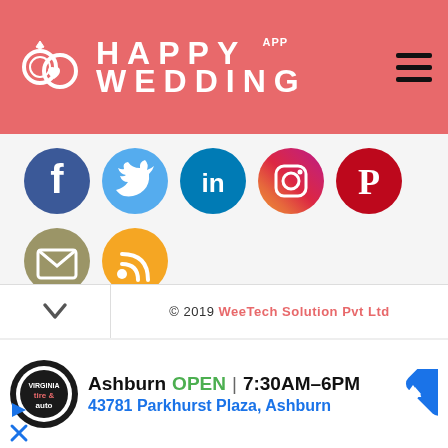HAPPY WEDDING APP
[Figure (screenshot): Social media icon buttons: Facebook (blue), Twitter (light blue), LinkedIn (blue), Instagram (gradient), Pinterest (red), Email (olive/gold), RSS (orange)]
© 2019 WeeTech Solution Pvt Ltd
[Figure (screenshot): Advertisement: Tire & Auto logo. Ashburn OPEN | 7:30AM–6PM. 43781 Parkhurst Plaza, Ashburn. Blue diamond navigation arrow icon on right. Navigation controls (forward/close) on bottom left.]